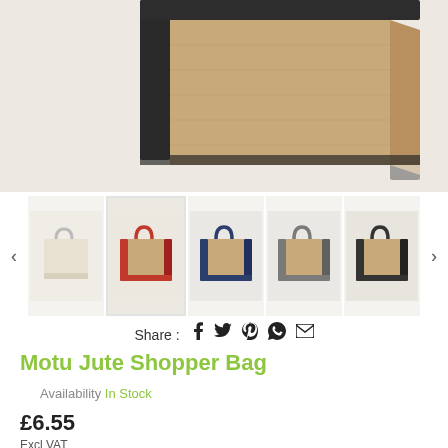[Figure (photo): Close-up photo of a jute shopper bag with dark trim, cropped showing the top portion of the bag against a light background.]
[Figure (photo): Row of five thumbnail images showing the Motu Jute Shopper Bag in different color variants: natural/cream, red trim, navy/dark trim, grey trim, and dark grey/black trim. Navigation arrows on both sides.]
Share :
Motu Jute Shopper Bag
Availability In Stock
£6.55
Excl VAT